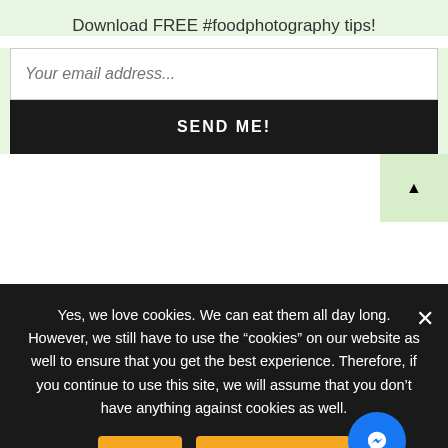Download FREE #foodphotography tips!
[Figure (screenshot): Email input field with placeholder 'Your email address...']
[Figure (screenshot): Black button with text 'SEND ME!']
[Figure (screenshot): Green scroll-to-top button with triangle arrow]
Yes, we love cookies. We can eat them all day long. However, we still have to use the "cookies" on our website as well to ensure that you get the best experience. Therefore, if you continue to use this site, we will assume that you don't have anything against cookies as well.
[Figure (screenshot): Ok button and Privacy policy button in orange, plus Messenger chat button in blue circle]